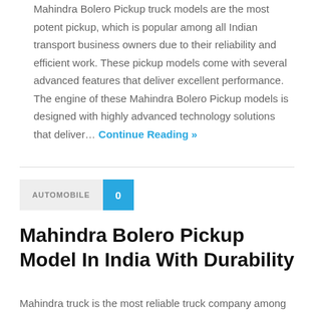Mahindra Bolero Pickup truck models are the most potent pickup, which is popular among all Indian transport business owners due to their reliability and efficient work. These pickup models come with several advanced features that deliver excellent performance. The engine of these Mahindra Bolero Pickup models is designed with highly advanced technology solutions that deliver… Continue Reading »
AUTOMOBILE  0
Mahindra Bolero Pickup Model In India With Durability
Mahindra truck is the most reliable truck company among